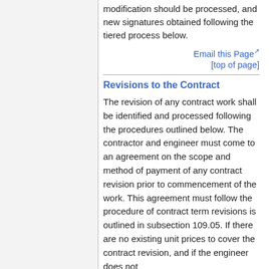modification should be processed, and new signatures obtained following the tiered process below.
Email this Page
[top of page]
Revisions to the Contract
The revision of any contract work shall be identified and processed following the procedures outlined below. The contractor and engineer must come to an agreement on the scope and method of payment of any contract revision prior to commencement of the work. This agreement must follow the procedure of contract term revisions is outlined in subsection 109.05. If there are no existing unit prices to cover the contract revision, and if the engineer does not